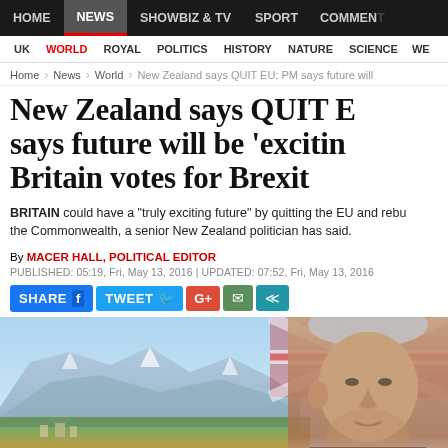HOME | NEWS | SHOWBIZ & TV | SPORT | COMMENT
UK | WORLD | ROYAL | POLITICS | HISTORY | NATURE | SCIENCE | WE
Home > News > World > New Zealand says QUIT EU: PM says future will
New Zealand says QUIT EU: PM says future will be 'exciting' if Britain votes for Brexit
BRITAIN could have a "truly exciting future" by quitting the EU and rebuilding ties with the Commonwealth, a senior New Zealand politician has said.
By MACER HALL, POLITICAL EDITOR
PUBLISHED: 05:19, Fri, May 13, 2016 | UPDATED: 07:52, Fri, May 13, 2016
[Figure (infographic): Social share buttons: SHARE (Facebook), TWEET (Twitter), G+, email, share icons]
[Figure (photo): Hero image showing New Zealand landscape with mountains and a man's face on the right side, with Union Jack flag overlay]